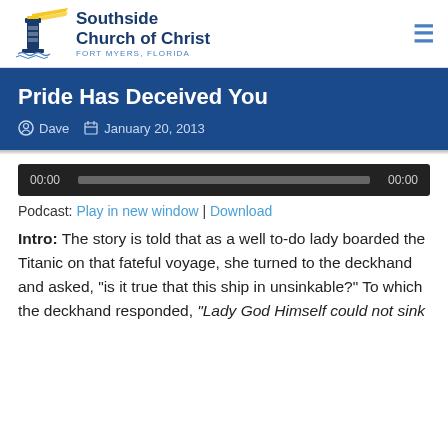Southside Church of Christ — FORT MYERS, FLORIDA
Pride Has Deceived You
Dave  January 20, 2013
[Figure (other): Audio player with time display 00:00 on left and right, and a grey progress bar in the middle]
Podcast: Play in new window | Download
Intro: The story is told that as a well to-do lady boarded the Titanic on that fateful voyage, she turned to the deckhand and asked, "is it true that this ship in unsinkable?" To which the deckhand responded, "Lady God Himself could not sink